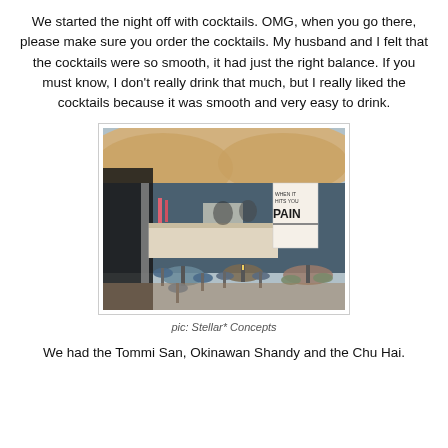We started the night off with cocktails. OMG, when you go there, please make sure you order the cocktails. My husband and I felt that the cocktails were so smooth, it had just the right balance. If you must know, I don't really drink that much, but I really liked the cocktails because it was smooth and very easy to drink.
[Figure (photo): Interior of a bar/restaurant showing a bar counter, colourful stools, small round tables, and a sign reading 'PAIN' on the wall. Warm lighting and a draped fabric ceiling.]
pic: Stellar* Concepts
We had the Tommi San, Okinawan Shandy and the Chu Hai.